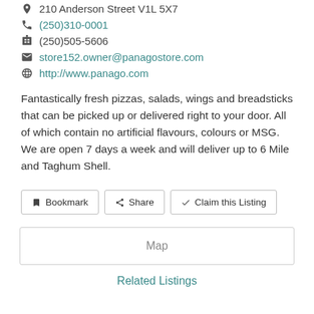210 Anderson Street V1L 5X7
(250)310-0001
(250)505-5606
store152.owner@panagostore.com
http://www.panago.com
Fantastically fresh pizzas, salads, wings and breadsticks that can be picked up or delivered right to your door. All of which contain no artificial flavours, colours or MSG. We are open 7 days a week and will deliver up to 6 Mile and Taghum Shell.
Bookmark   Share   Claim this Listing
Map
Related Listings